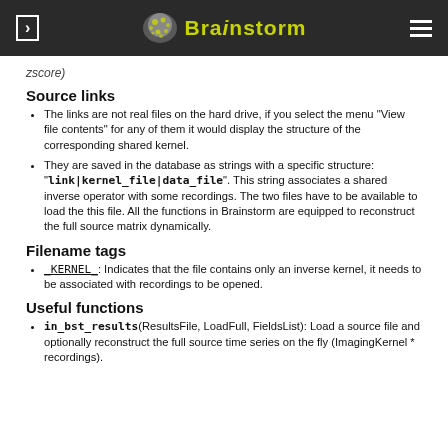Brainstorm
zscore)
Source links
The links are not real files on the hard drive, if you select the menu "View file contents" for any of them it would display the structure of the corresponding shared kernel.
They are saved in the database as strings with a specific structure: "link|kernel_file|data_file". This string associates a shared inverse operator with some recordings. The two files have to be available to load the this file. All the functions in Brainstorm are equipped to reconstruct the full source matrix dynamically.
Filename tags
_KERNEL_: Indicates that the file contains only an inverse kernel, it needs to be associated with recordings to be opened.
Useful functions
in_bst_results(ResultsFile, LoadFull, FieldsList): Load a source file and optionally reconstruct the full source time series on the fly (ImagingKernel * recordings).